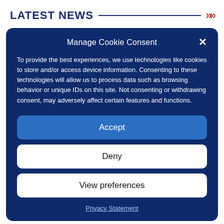LATEST NEWS
Manage Cookie Consent
To provide the best experiences, we use technologies like cookies to store and/or access device information. Consenting to these technologies will allow us to process data such as browsing behavior or unique IDs on this site. Not consenting or withdrawing consent, may adversely affect certain features and functions.
Accept
Deny
View preferences
Privacy Statement